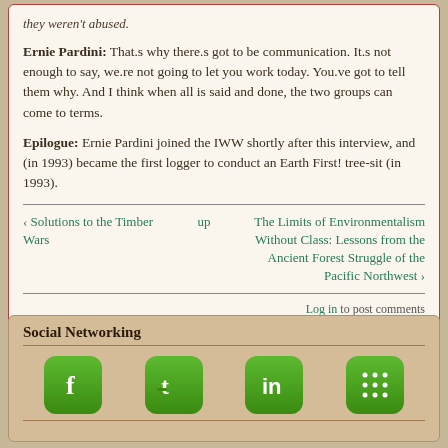they weren't abused.
Ernie Pardini: That.s why there.s got to be communication. It.s not enough to say, we.re not going to let you work today. You.ve got to tell them why. And I think when all is said and done, the two groups can come to terms.
Epilogue: Ernie Pardini joined the IWW shortly after this interview, and (in 1993) became the first logger to conduct an Earth First! tree-sit (in 1993).
‹ Solutions to the Timber Wars | up | The Limits of Environmentalism Without Class: Lessons from the Ancient Forest Struggle of the Pacific Northwest ›
Log in to post comments
Social Networking